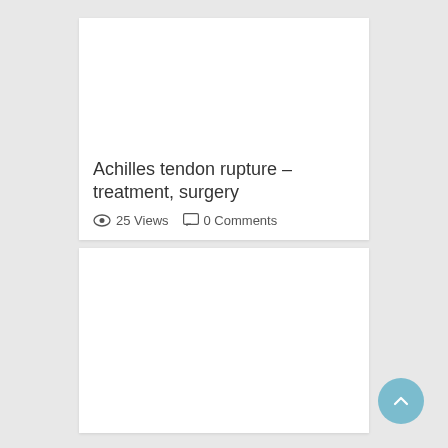Achilles tendon rupture – treatment, surgery
25 Views   0 Comments